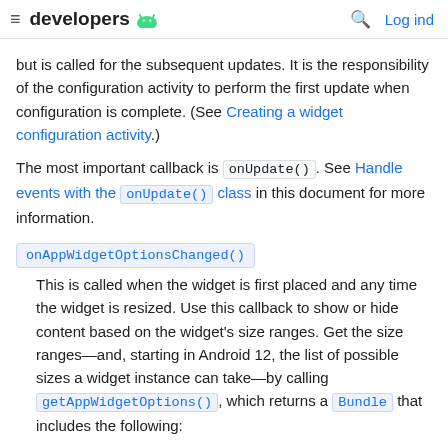≡ developers [android logo] 🔍 Log ind
but is called for the subsequent updates. It is the responsibility of the configuration activity to perform the first update when configuration is complete. (See Creating a widget configuration activity.)
The most important callback is onUpdate(). See Handle events with the onUpdate() class in this document for more information.
onAppWidgetOptionsChanged()
This is called when the widget is first placed and any time the widget is resized. Use this callback to show or hide content based on the widget's size ranges. Get the size ranges—and, starting in Android 12, the list of possible sizes a widget instance can take—by calling getAppWidgetOptions(), which returns a Bundle that includes the following: